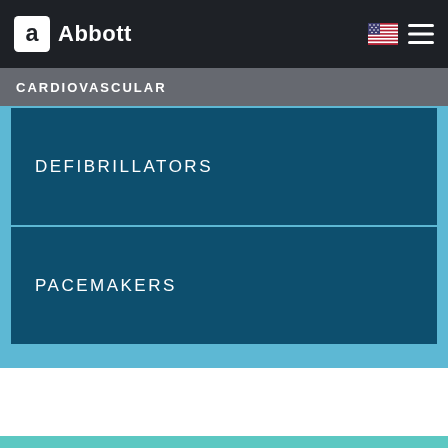Abbott
CARDIOVASCULAR
DEFIBRILLATORS
PACEMAKERS
THERAPY FOR MITRAL REGURGITATION